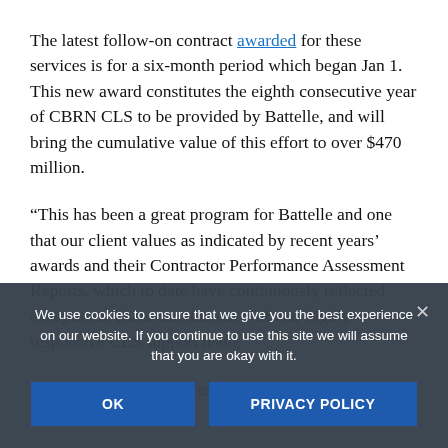The latest follow-on contract awarded for these services is for a six-month period which began Jan 1. This new award constitutes the eighth consecutive year of CBRN CLS to be provided by Battelle, and will bring the cumulative value of this effort to over $470 million.
“This has been a great program for Battelle and one that our client values as indicated by recent years’ awards and their Contractor Performance Assessment Reports, which to date have continuously reflected exceptional client satisfaction with our highly responsive CLS support team,” said Matt Shaw, Vice President and General Manager for
We use cookies to ensure that we give you the best experience on our website. If you continue to use this site we will assume that you are okay with it.